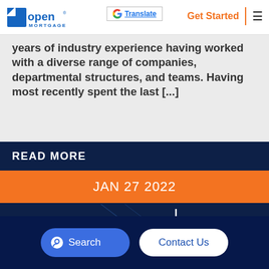Open Mortgage | Get Started | Translate
years of industry experience having worked with a diverse range of companies, departmental structures, and teams. Having most recently spent the last [...]
READ MORE
JAN 27 2022
[Figure (logo): 10 in 20 Open Mortgage logo on dark blue background]
Search
Contact Us